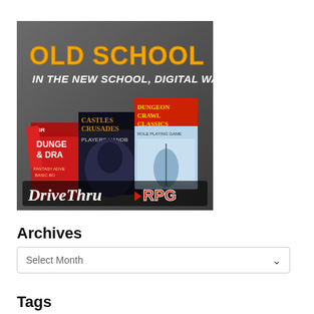[Figure (illustration): DriveThruRPG advertisement banner showing old school RPG books including Dungeons & Dragons, Castles & Crusades Players Handbook, and Dungeon Crawl Classics Role Playing Game. Text reads 'OLD SCHOOL RPGS IN THE NEW SCHOOL, DIGITAL WAY!' with DriveThruRPG logo at bottom.]
Archives
Select Month
Tags